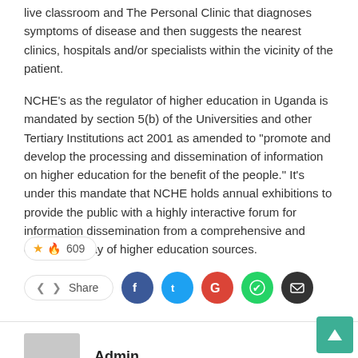live classroom and The Personal Clinic that diagnoses symptoms of disease and then suggests the nearest clinics, hospitals and/or specialists within the vicinity of the patient.
NCHE's as the regulator of higher education in Uganda is mandated by section 5(b) of the Universities and other Tertiary Institutions act 2001 as amended to “promote and develop the processing and dissemination of information on higher education for the benefit of the people.” It’s under this mandate that NCHE holds annual exhibitions to provide the public with a highly interactive forum for information dissemination from a comprehensive and diverse display of higher education sources.
🔥 609
< Share
Admin